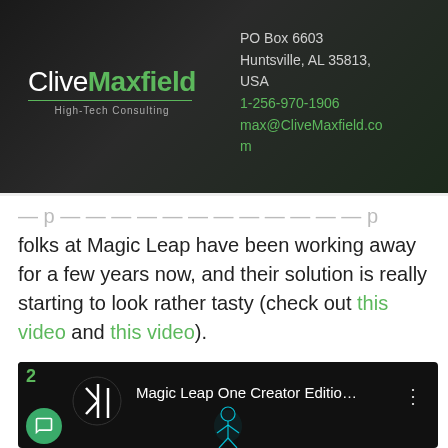[Figure (logo): CliveMaxfield High-Tech Consulting logo with contact info on dark gradient background]
folks at Magic Leap have been working away for a few years now, and their solution is really starting to look rather tasty (check out this video and this video).
[Figure (screenshot): YouTube video thumbnail for Magic Leap One Creator Edition video with Magic Leap logo and human figure silhouette]